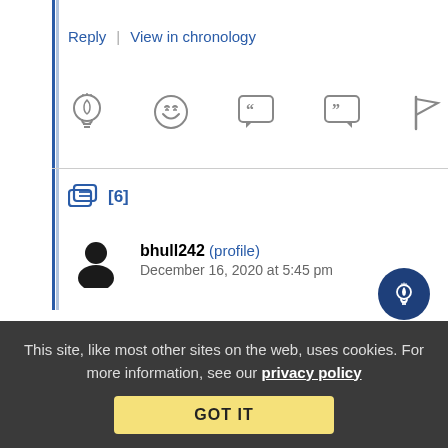Reply | View in chronology
[Figure (illustration): Row of 5 action icons: lightbulb, laughing emoji, open-quote speech bubble, close-quote speech bubble, flag]
[6] (thread replies icon with count)
bhull242 (profile)  December 16, 2020 at 5:45 pm
[Figure (illustration): Dark blue circular button with white lightbulb icon]
Re: Re: Re:³ YES, If OK by Common LAW
This site, like most other sites on the web, uses cookies. For more information, see our privacy policy
GOT IT